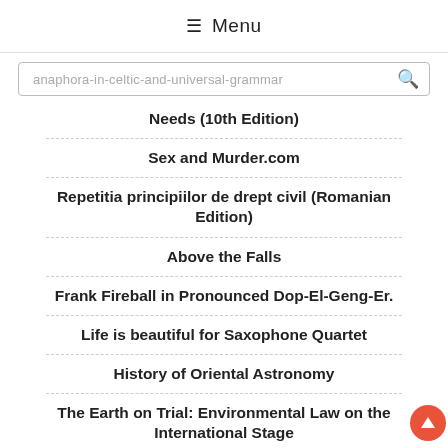≡ Menu
anaphora-in-celtic-and-universal-grammar
Needs (10th Edition)
Sex and Murder.com
Repetitia principiilor de drept civil (Romanian Edition)
Above the Falls
Frank Fireball in Pronounced Dop-El-Geng-Er.
Life is beautiful for Saxophone Quartet
History of Oriental Astronomy
The Earth on Trial: Environmental Law on the International Stage
How to Start a Home-Based Gift Basket